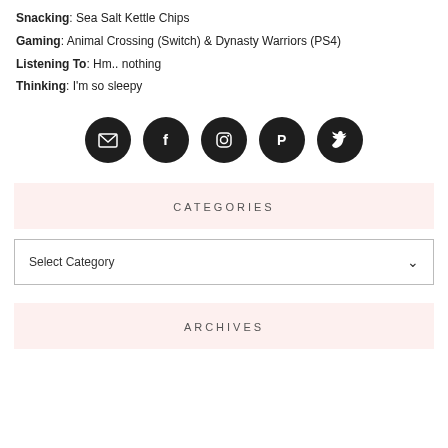Snacking: Sea Salt Kettle Chips
Gaming: Animal Crossing (Switch) & Dynasty Warriors (PS4)
Listening To: Hm.. nothing
Thinking: I'm so sleepy
[Figure (infographic): Five dark circular social media icon buttons in a row: email, Facebook, Instagram, Pinterest, Twitter]
CATEGORIES
Select Category
ARCHIVES